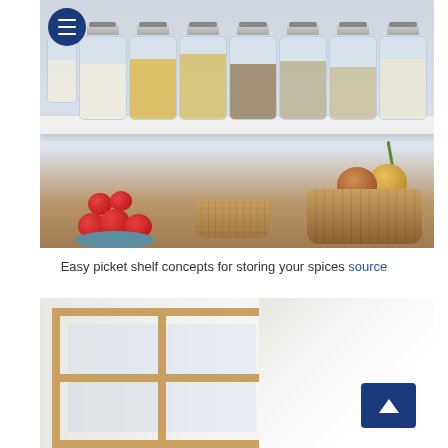[Figure (photo): Photo of kitchen pantry shelf with multiple glass jars containing various grains and legumes, with a wooden counter below holding a plate of tomatoes, a wicker basket with produce, and a wicker basket with onions and green tops]
Easy picket shelf concepts for storing your spices source
[Figure (photo): Partial photo of a wooden window frame or staircase railing with light-colored background]